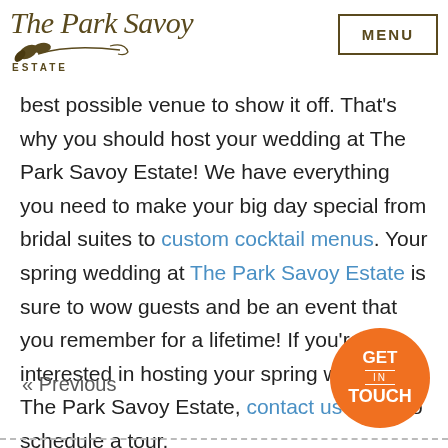The Park Savoy Estate | MENU
best possible venue to show it off. That's why you should host your wedding at The Park Savoy Estate! We have everything you need to make your big day special from bridal suites to custom cocktail menus. Your spring wedding at The Park Savoy Estate is sure to wow guests and be an event that you remember for a lifetime! If you're interested in hosting your spring wedding at The Park Savoy Estate, contact us today to schedule a tour.
« Previous
[Figure (other): Orange circular button with text GET IN TOUCH]